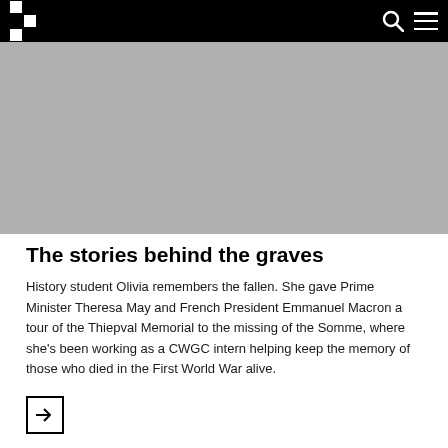CWGC navigation header with logo, search, and menu icons
[Figure (photo): Large image area (light gray placeholder) showing the Thiepval Memorial or related WWI imagery]
The stories behind the graves
History student Olivia remembers the fallen. She gave Prime Minister Theresa May and French President Emmanuel Macron a tour of the Thiepval Memorial to the missing of the Somme, where she's been working as a CWGC intern helping keep the memory of those who died in the First World War alive.